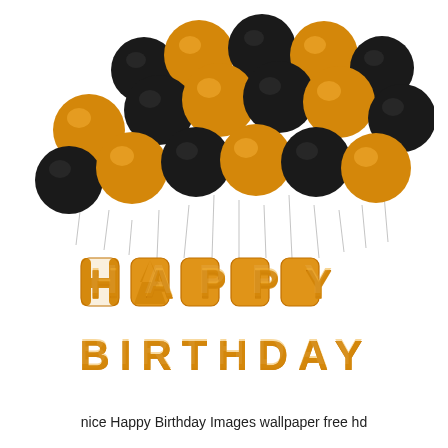[Figure (photo): A festive birthday balloon arrangement featuring gold and black latex balloons clustered at the top, with gold foil letter balloons spelling 'HAPPY' on the first row and 'BIRTHDAY' on the second row below, all on a white background.]
nice Happy Birthday Images wallpaper free hd